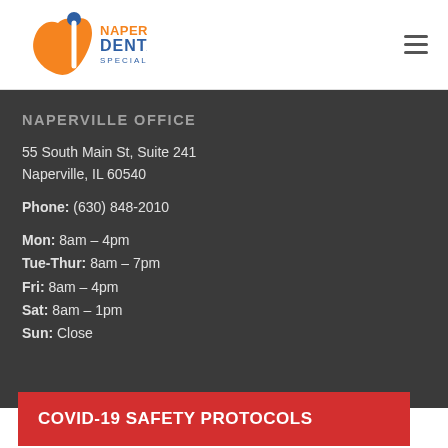[Figure (logo): Naperville Dental Specialists logo with orange swoosh and blue dot]
NAPERVILLE OFFICE
55 South Main St, Suite 241
Naperville, IL 60540
Phone: (630) 848-2010
Mon: 8am – 4pm
Tue-Thur: 8am – 7pm
Fri: 8am – 4pm
Sat: 8am – 1pm
Sun: Close
COVID-19 SAFETY PROTOCOLS